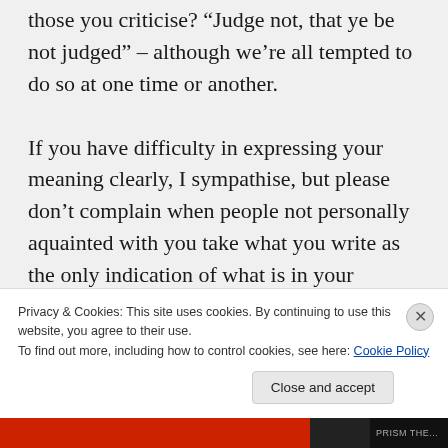those you criticise? “Judge not, that ye be not judged” – although we’re all tempted to do so at one time or another.

If you have difficulty in expressing your meaning clearly, I sympathise, but please don’t complain when people not personally aquainted with you take what you write as the only indication of what is in your
Privacy & Cookies: This site uses cookies. By continuing to use this website, you agree to their use.
To find out more, including how to control cookies, see here: Cookie Policy